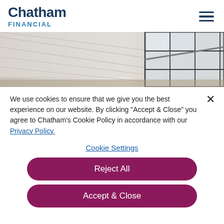Chatham FINANCIAL
[Figure (photo): Interior architectural photo showing white paneled ceiling and large industrial-style window with metal grid]
We use cookies to ensure that we give you the best experience on our website. By clicking "Accept & Close" you agree to Chatham's Cookie Policy in accordance with our Privacy Policy.
Cookie Settings
Reject All
Accept & Close